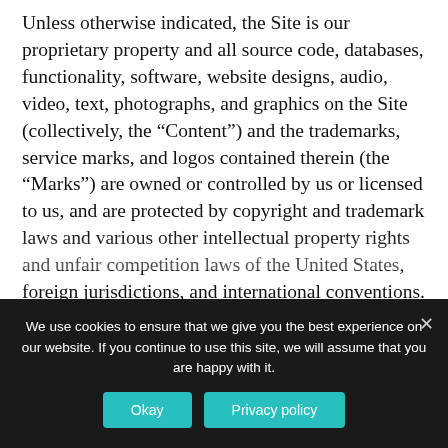Unless otherwise indicated, the Site is our proprietary property and all source code, databases, functionality, software, website designs, audio, video, text, photographs, and graphics on the Site (collectively, the “Content”) and the trademarks, service marks, and logos contained therein (the “Marks”) are owned or controlled by us or licensed to us, and are protected by copyright and trademark laws and various other intellectual property rights and unfair competition laws of the United States, foreign jurisdictions, and international conventions.
The Content and the Marks are provided on the Site “AS IS” for your information and personal use only
We use cookies to ensure that we give you the best experience on our website. If you continue to use this site, we will assume that you are happy with it.